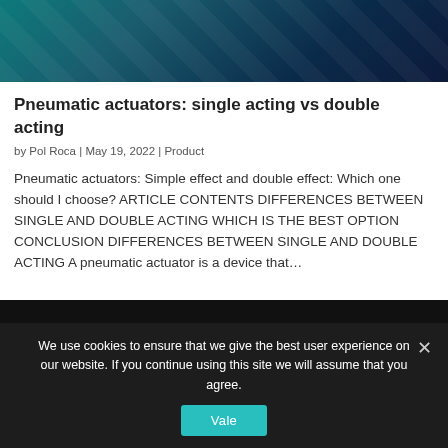[Figure (photo): Dark teal background with geometric overlapping shapes/tiles, keyboard-like texture]
Pneumatic actuators: single acting vs double acting
by Pol Roca | May 19, 2022 | Product
Pneumatic actuators: Simple effect and double effect: Which one should I choose? ARTICLE CONTENTS DIFFERENCES BETWEEN SINGLE AND DOUBLE ACTING WHICH IS THE BEST OPTION CONCLUSION DIFFERENCES BETWEEN SINGLE AND DOUBLE ACTING A pneumatic actuator is a device that…
We use cookies to ensure that we give the best user experience on our website. If you continue using this site we will assume that you agree.
[Figure (photo): Dark background with partial image visible behind cookie consent bar]